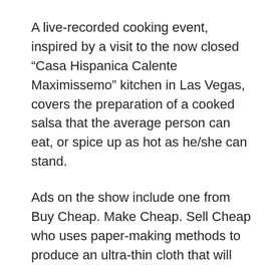A live-recorded cooking event, inspired by a visit to the now closed “Casa Hispanica Calente Maximissemo” kitchen in Las Vegas, covers the preparation of a cooked salsa that the average person can eat, or spice up as hot as he/she can stand.
Ads on the show include one from Buy Cheap. Make Cheap. Sell Cheap who uses paper-making methods to produce an ultra-thin cloth that will take printed patterns, but yield garments that will only last for three wearings so they must be replaced more often.